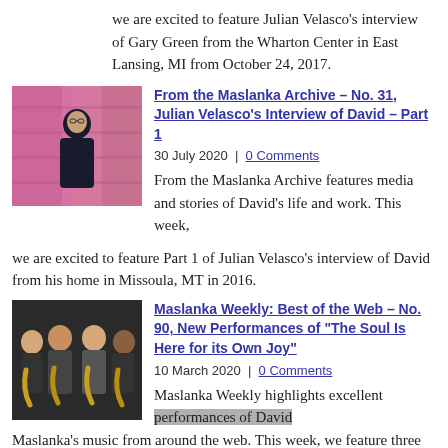we are excited to feature Julian Velasco's interview of Gary Green from the Wharton Center in East Lansing, MI from October 24, 2017.
[Figure (photo): A man in a dark suit standing against a colorful painted wall background.]
From the Maslanka Archive – No. 31, Julian Velasco's Interview of David – Part 1
30 July 2020 | 0 Comments
From the Maslanka Archive features media and stories of David's life and work. This week, we are excited to feature Part 1 of Julian Velasco's interview of David from his home in Missoula, MT in 2016.
[Figure (photo): A group of four young men holding saxophones, posing for a photo against a dark background.]
Maslanka Weekly: Best of the Web – No. 90, New Performances of "The Soul Is Here for its Own Joy"
10 March 2020 | 0 Comments
Maslanka Weekly highlights excellent performances of David Maslanka's music from around the web. This week, we feature three of the very best new performances of "The Soul Is Here for its Own Joy" from Songs for the Coming Day for Saxophone Quartet.